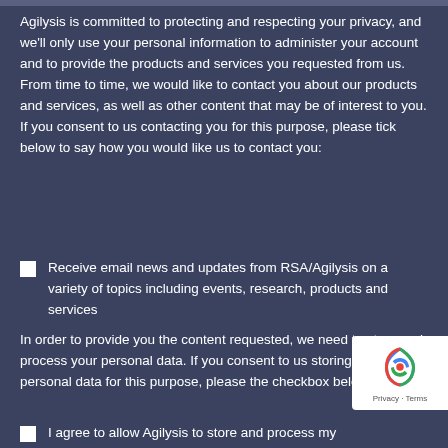Agilysis is committed to protecting and respecting your privacy, and we'll only use your personal information to administer your account and to provide the products and services you requested from us. From time to time, we would like to contact you about our products and services, as well as other content that may be of interest to you. If you consent to us contacting you for this purpose, please tick below to say how you would like us to contact you:
Receive email news and updates from RSA/Agilysis on a variety of topics including events, research, products and services
In order to provide you the content requested, we need to store and process your personal data. If you consent to us storing your personal data for this purpose, please the checkbox below.
I agree to allow Agilysis to store and process my...